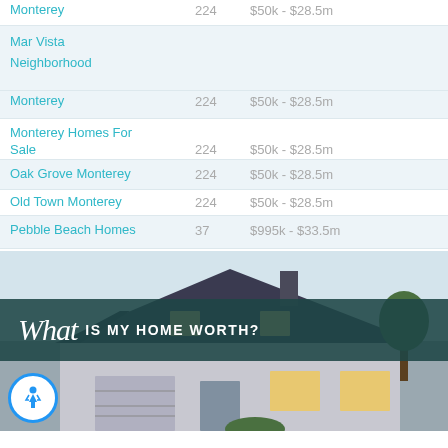| Neighborhood/Search | Count | Price Range |
| --- | --- | --- |
| Monterey | 224 | $50k - $28.5m |
| Mar Vista |  |  |
| Neighborhood |  |  |
| Monterey | 224 | $50k - $28.5m |
| Monterey Homes For Sale | 224 | $50k - $28.5m |
| Oak Grove Monterey | 224 | $50k - $28.5m |
| Old Town Monterey | 224 | $50k - $28.5m |
| Pebble Beach Homes | 37 | $995k - $33.5m |
[Figure (photo): Banner image of a house with overlay text 'What IS MY HOME WORTH?']